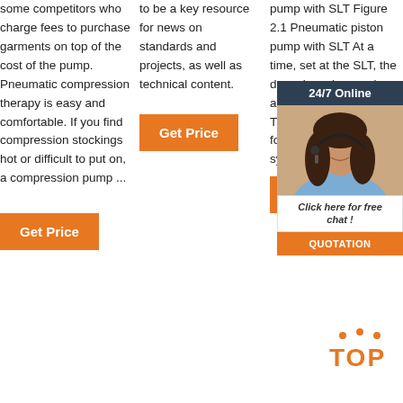some competitors who charge fees to purchase garments on top of the cost of the pump. Pneumatic compression therapy is easy and comfortable. If you find compression stockings hot or difficult to put on, a compression pump ...
[Figure (other): Orange 'Get Price' button in column 1]
to be a key resource for news on standards and projects, as well as technical content.
[Figure (other): Orange 'Get Price' button in column 2]
pump with SLT Figure 2.1 Pneumatic piston pump with SLT At a time, set at the SLT, the ... sole ... clos ... valv ... allo ... from ... to flo ... The ... rises ... com ... and forces grease into the system. The
[Figure (other): 24/7 Online chat widget with woman photo, 'Click here for free chat!' text, and QUOTATION button]
[Figure (other): TOP icon with orange dots and letters]
[Figure (other): Orange 'Get Price' button in column 3]